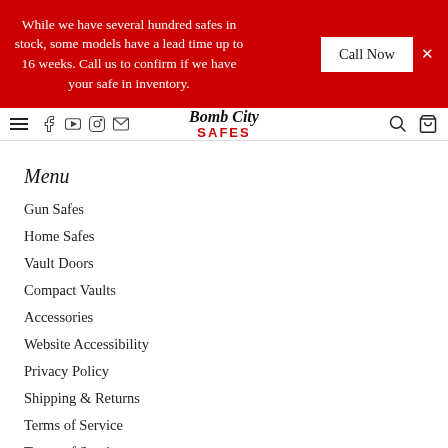While we have several hundred safes in stock, some models have a lead time up to 16 weeks. Call us to confirm if we have your safe in inventory.
Call Now
[Figure (logo): Bomb City Safes logo with italic script 'Bomb City' above bold red 'SAFES' text]
Menu
Gun Safes
Home Safes
Vault Doors
Compact Vaults
Accessories
Website Accessibility
Privacy Policy
Shipping & Returns
Terms of Service
Terms of Service
Refund policy